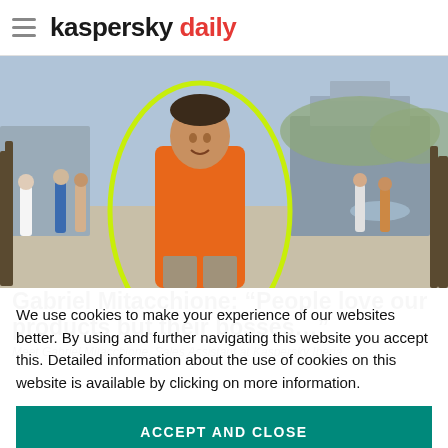kaspersky daily
[Figure (photo): A man in an orange polo shirt smiling outdoors in a public plaza, with a modern museum building in the background. A neon green loop outline circles him.]
Gabriel Mitacchione: “People love our products but their bosses…”
Meet Gabriel Mitacchione, Sales Assistant at Kaspersky Iberia
We use cookies to make your experience of our websites better. By using and further navigating this website you accept this. Detailed information about the use of cookies on this website is available by clicking on more information.
ACCEPT AND CLOSE